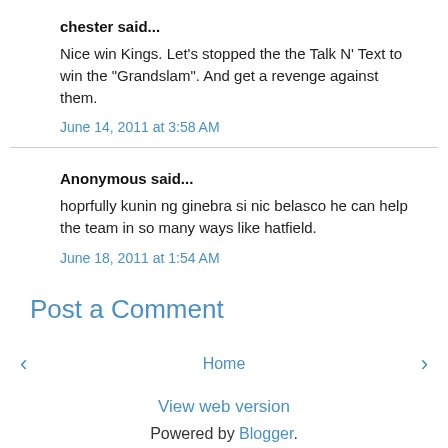chester said...
Nice win Kings. Let's stopped the the Talk N' Text to win the "Grandslam". And get a revenge against them.
June 14, 2011 at 3:58 AM
Anonymous said...
hoprfully kunin ng ginebra si nic belasco he can help the team in so many ways like hatfield.
June 18, 2011 at 1:54 AM
Post a Comment
‹  Home  ›
View web version
Powered by Blogger.